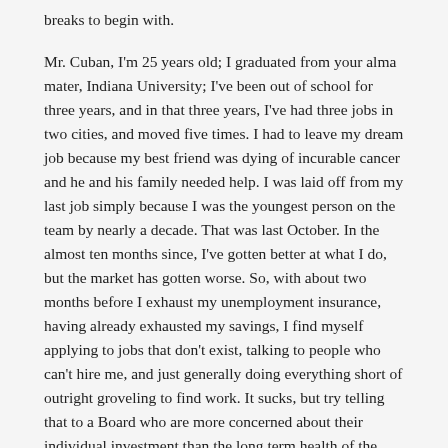breaks to begin with.

Mr. Cuban, I'm 25 years old; I graduated from your alma mater, Indiana University; I've been out of school for three years, and in that three years, I've had three jobs in two cities, and moved five times. I had to leave my dream job because my best friend was dying of incurable cancer and he and his family needed help. I was laid off from my last job simply because I was the youngest person on the team by nearly a decade. That was last October. In the almost ten months since, I've gotten better at what I do, but the market has gotten worse. So, with about two months before I exhaust my unemployment insurance, having already exhausted my savings, I find myself applying to jobs that don't exist, talking to people who can't hire me, and just generally doing everything short of outright groveling to find work. It sucks, but try telling that to a Board who are more concerned about their individual investment than the long term health of the company they invested in. Who cares if you have to lay off 30,000 workers, if it